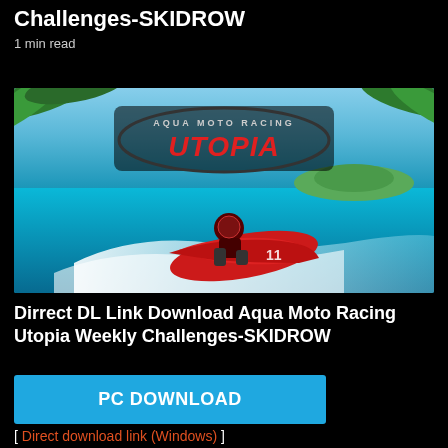Download Aqua Moto Racing Utopia Weekly Challenges-SKIDROW
1 min read
[Figure (screenshot): Game promotional image for Aqua Moto Racing Utopia showing a rider on a jet ski racing through blue ocean water with the game logo 'AQUA MOTO RACING UTOPIA' displayed prominently]
Dirrect DL Link Download Aqua Moto Racing Utopia Weekly Challenges-SKIDROW
PC DOWNLOAD
[ Direct download link (Windows) ]